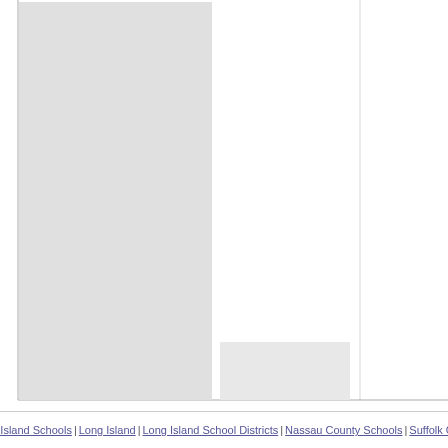[Figure (bar-chart): Partial bar chart showing two tall gray bars at the left side. The bars are very tall reaching nearly to the top of the chart area. A horizontal baseline runs across the bottom. The chart appears to be cropped showing only the leftmost portion.]
Long Island Schools | Long Island | Long Island School Districts | Nassau County Schools | Suffolk Cou...